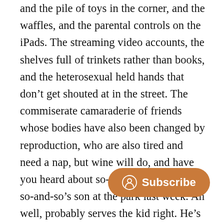and the pile of toys in the corner, and the waffles, and the parental controls on the iPads. The streaming video accounts, the shelves full of trinkets rather than books, and the heterosexual held hands that don’t get shouted at in the street. The commiserate camaraderie of friends whose bodies have also been changed by reproduction, who are also tired and need a nap, but wine will do, and have you heard about so-and-so? Her kid bit so-and-so’s son at the park last week. Ah well, probably serves the kid right. He’s a little effeminate, you know. Not that there’s anything wrong with that. Did you get that coupon in the Target ad this week? I know, I’m going to go pick some stuff up for the kids’ lunches. But I don’t really love their produce. Oh, I love that picture frame. I saw one just like it at the dollar store. Oh, that’s where you got it? I lo…y supplies. By the way, I had such a goo…s birthday party. A circus theme but with no clowns. Genius!
[Figure (other): Subscribe button overlay with person icon and text 'Subscribe' on an orange/brown rounded pill background]